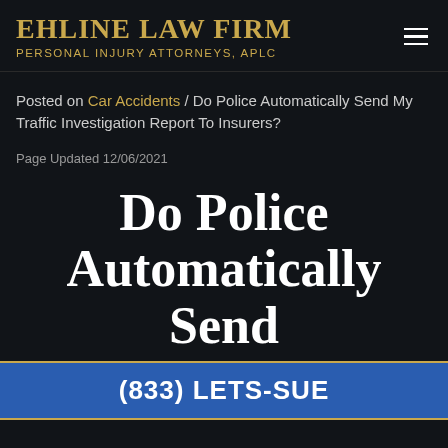EHLINE LAW FIRM PERSONAL INJURY ATTORNEYS, APLC
Posted on Car Accidents / Do Police Automatically Send My Traffic Investigation Report To Insurers?
Page Updated 12/06/2021
Do Police Automatically Send My Traffic To Insurers?
(833) LETS-SUE